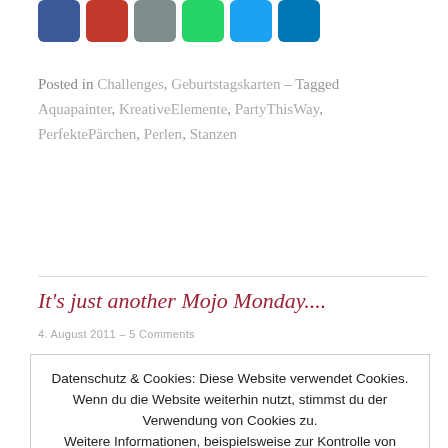[Figure (other): Row of social sharing icon buttons: Facebook (blue), Pinterest (red), Email (gray), WhatsApp (green), Twitter (light blue), LinkedIn (dark blue)]
Posted in Challenges, Geburtstagskarten – Tagged Aquapainter, KreativeElemente, PartyThisWay, PerfektePärchen, Perlen, Stanzen
It's just another Mojo Monday....
4. August 2011 – 5 Comments
Datenschutz & Cookies: Diese Website verwendet Cookies. Wenn du die Website weiterhin nutzt, stimmst du der Verwendung von Cookies zu. Weitere Informationen, beispielsweise zur Kontrolle von Cookies, findest du hier: Cookie-Richtlinie
Schließen und akzeptieren